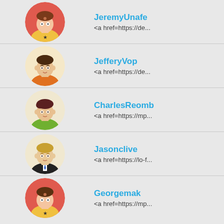JeremyUnafe
<a href=https://de...
JefferyVop
<a href=https://de...
CharlesReomb
<a href=https://mp...
Jasonclive
<a href=https://lo-f...
Georgemak
<a href=https://mp...